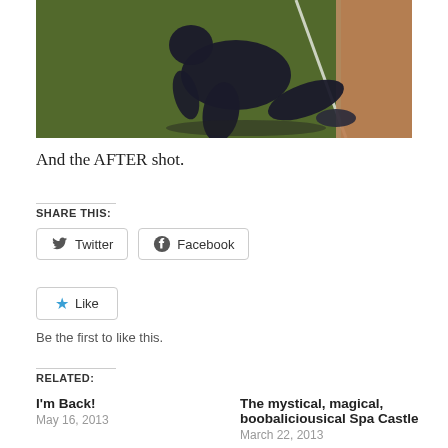[Figure (photo): Person doing a yoga or exercise pose on green indoor turf/carpet floor with hardwood flooring visible in background. The figure is in a dark silhouette doing a low lunge or crawling position.]
And the AFTER shot.
SHARE THIS:
Twitter
Facebook
Like
Be the first to like this.
RELATED:
I'm Back!
May 16, 2013
The mystical, magical, boobaliciousical Spa Castle
March 22, 2013